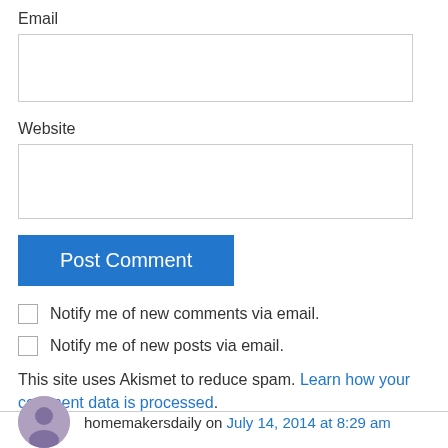Email
Website
Post Comment
Notify me of new comments via email.
Notify me of new posts via email.
This site uses Akismet to reduce spam. Learn how your comment data is processed.
homemakersdaily on July 14, 2014 at 8:29 am